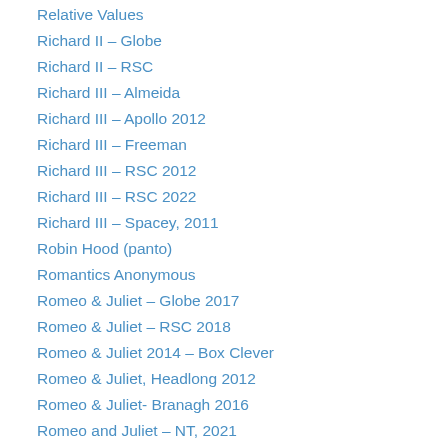Relative Values
Richard II – Globe
Richard II – RSC
Richard III – Almeida
Richard III – Apollo 2012
Richard III – Freeman
Richard III – RSC 2012
Richard III – RSC 2022
Richard III – Spacey, 2011
Robin Hood (panto)
Romantics Anonymous
Romeo & Juliet – Globe 2017
Romeo & Juliet – RSC 2018
Romeo & Juliet 2014 – Box Clever
Romeo & Juliet, Headlong 2012
Romeo & Juliet- Branagh 2016
Romeo and Juliet – NT, 2021
Romeo and Juliet- Globe 2015
Romeo and Juliet: Tobacco Factory
Rosencrantz and Guildenstern Are Dead